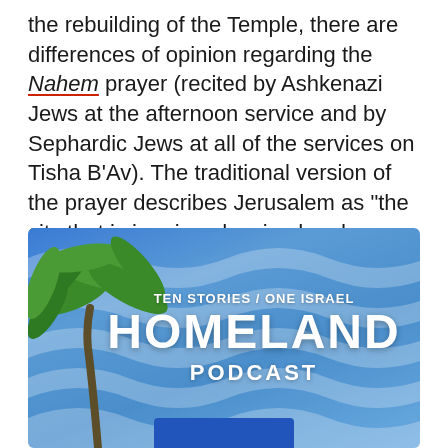the rebuilding of the Temple, there are differences of opinion regarding the Nahem prayer (recited by Ashkenazi Jews at the afternoon service and by Sephardic Jews at all of the services on Tisha B'Av). The traditional version of the prayer describes Jerusalem as “the city that is in ruins, despised and desolate, mourning without her children.”
[Figure (illustration): Podcast banner for 'Homeland Podcast' with subtitle 'Ten Stories / One Israel'. Blue wavy background with palm tree on the left side. White bold text. A blue rectangular bar at the bottom center.]